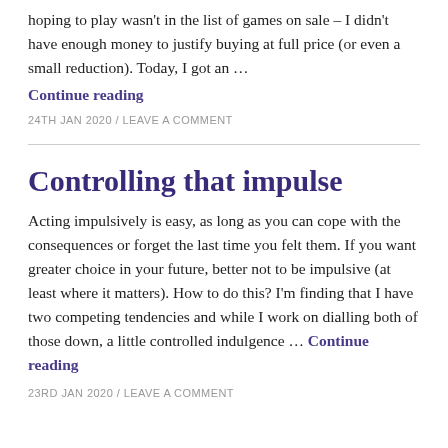hoping to play wasn't in the list of games on sale – I didn't have enough money to justify buying at full price (or even a small reduction). Today, I got an …
Continue reading
24TH JAN 2020 / LEAVE A COMMENT
Controlling that impulse
Acting impulsively is easy, as long as you can cope with the consequences or forget the last time you felt them. If you want greater choice in your future, better not to be impulsive (at least where it matters). How to do this? I'm finding that I have two competing tendencies and while I work on dialling both of those down, a little controlled indulgence … Continue reading
23RD JAN 2020 / LEAVE A COMMENT